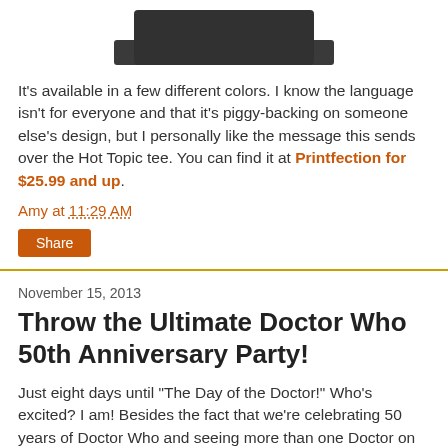[Figure (photo): Bottom portion of a dark t-shirt product photo visible at top of page]
It's available in a few different colors. I know the language isn't for everyone and that it's piggy-backing on someone else's design, but I personally like the message this sends over the Hot Topic tee. You can find it at Printfection for $25.99 and up.
Amy at 11:29 AM
Share
November 15, 2013
Throw the Ultimate Doctor Who 50th Anniversary Party!
Just eight days until "The Day of the Doctor!" Who's excited? I am! Besides the fact that we're celebrating 50 years of Doctor Who and seeing more than one Doctor on screen at the same time, it's a wonderful excuse to throw a big theme